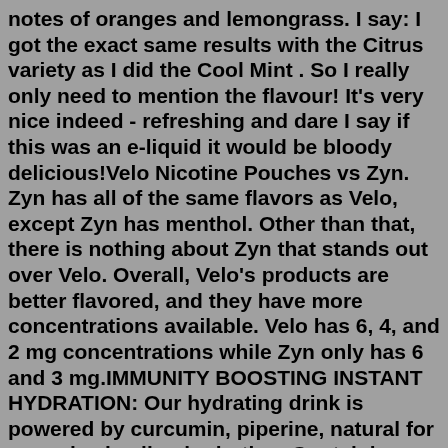notes of oranges and lemongrass. I say: I got the exact same results with the Citrus variety as I did the Cool Mint . So I really only need to mention the flavour! It's very nice indeed - refreshing and dare I say if this was an e-liquid it would be bloody delicious!Velo Nicotine Pouches vs Zyn. Zyn has all of the same flavors as Velo, except Zyn has menthol. Other than that, there is nothing about Zyn that stands out over Velo. Overall, Velo's products are better flavored, and they have more concentrations available. Velo has 6, 4, and 2 mg concentrations while Zyn only has 6 and 3 mg.IMMUNITY BOOSTING INSTANT HYDRATION: Our hydrating drink is powered by curcumin, piperine, natural for everyday healing hydration. Containing Vitamin C 120% of daily value and Vitamin D 50% of the daily value, our low sugar curcumin drink helps with inflammation support & works as an excellent immune boost for adults and kids. Zyn's appeal to youth, aside from its perceived safety is it's inviting flavors. In the US it comes in different concentrations. The flavors are different